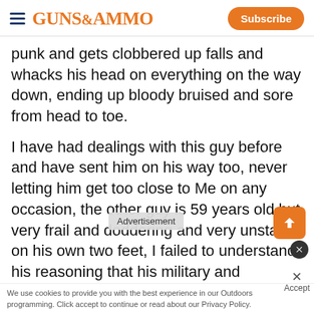GUNS&AMMO — Subscribe
punk and gets clobbered up falls and whacks his head on everything on the way down, ending up bloody bruised and sore from head to toe.
I have had dealings with this guy before and have sent him on his way too, never letting him get too close to Me on any occasion, the other guy is 59 years old but very frail and doddering and very unstable on his own two feet, I failed to understand his reasoning that his military and